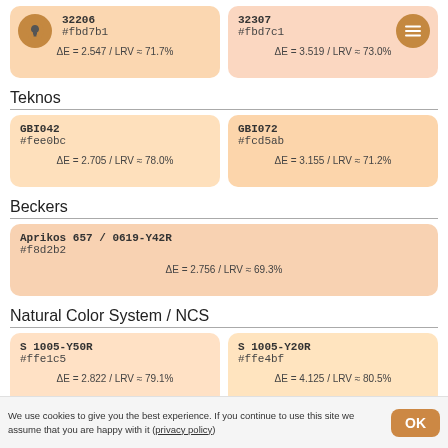[Figure (other): Color swatch card: 32206, #fbd7b1, ΔE = 2.547 / LRV ≈ 71.7%]
[Figure (other): Color swatch card: 32307, #fbd7c1, ΔE = 3.519 / LRV ≈ 73.0%]
Teknos
[Figure (other): Color swatch card: GBI042, #fee0bc, ΔE = 2.705 / LRV ≈ 78.0%]
[Figure (other): Color swatch card: GBI072, #fcd5ab, ΔE = 3.155 / LRV ≈ 71.2%]
Beckers
[Figure (other): Color swatch card: Aprikos 657 / 0619-Y42R, #f8d2b2, ΔE = 2.756 / LRV ≈ 69.3%]
Natural Color System / NCS
[Figure (other): Color swatch card: S 1005-Y50R, #ffe1c5, ΔE = 2.822 / LRV ≈ 79.1%]
[Figure (other): Color swatch card: S 1005-Y20R, #ffe4bf, ΔE = 4.125 / LRV ≈ 80.5%]
We use cookies to give you the best experience. If you continue to use this site we assume that you are happy with it (privacy policy)